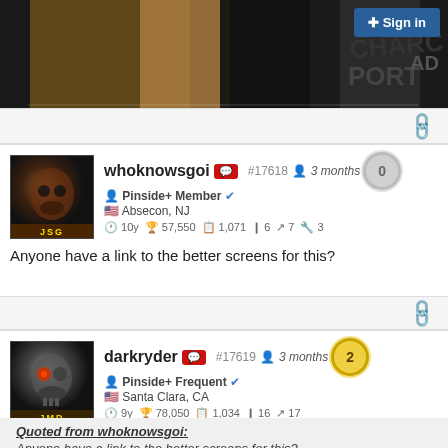[Figure (screenshot): Top portion of a forum page showing a partially visible image of arcade/pinball machine parts with 'CHARC PORT' text visible, and a blue 'Sign in' button in the top right corner.]
whoknowsgoi  #17618  3 months  0
Pinside+ Member  Absecon, NJ
10y  57,550  1,071  6  7  3
Anyone have a link to the better screens for this?
darkryder  #17619  3 months  2
Pinside+ Frequent  Santa Clara, CA
9y  78,050  1,034  16  17
Quoted from whoknowsgoi:
Anyone have a link to the better screens for this?